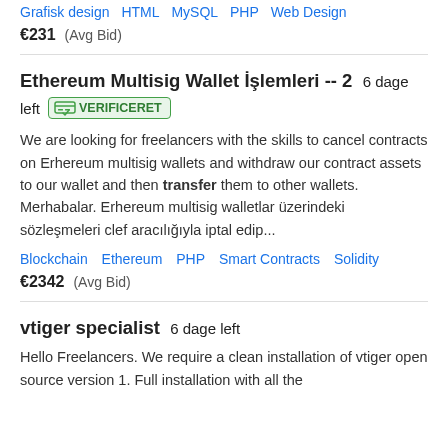Grafisk design  HTML  MySQL  PHP  Web Design
€231  (Avg Bid)
Ethereum Multisig Wallet İşlemleri -- 2  6 dage left  VERIFICERET
We are looking for freelancers with the skills to cancel contracts on Erhereum multisig wallets and withdraw our contract assets to our wallet and then transfer them to other wallets. Merhabalar. Erhereum multisig walletlar üzerindeki sözleşmeleri clef aracılığıyla iptal edip...
Blockchain  Ethereum  PHP  Smart Contracts  Solidity
€2342  (Avg Bid)
vtiger specialist  6 dage left
Hello Freelancers. We require a clean installation of vtiger open source version 1. Full installation with all the